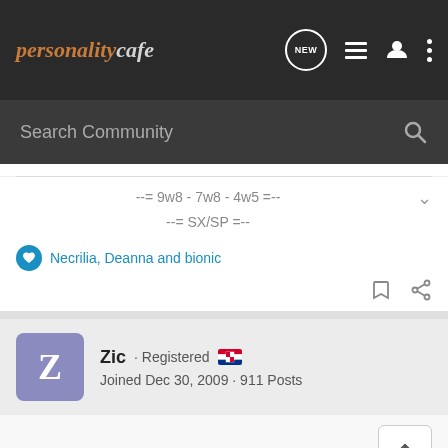personalitycafe
--= 9w8 - 7w8 - 4w5 =--
--= SX/SP =--
Necrilia, Deanna and bionic
Zic · Registered
Joined Dec 30, 2009 · 911 Posts
#2 · Oct 2, 2010
Malovane said:
Alright, so I somehow stumbled on this exotic species called an INTP